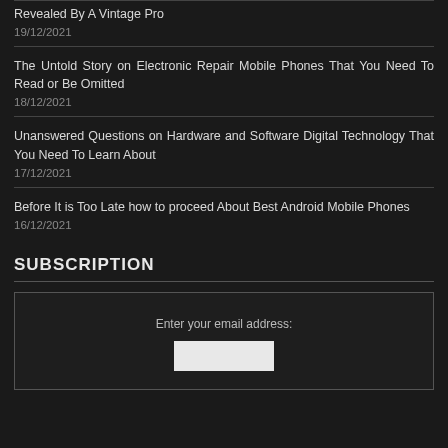The Forbidden Truth About Best Mobile Phones for Technology Revealed By A Vintage Pro
19/12/2021
The Untold Story on Electronic Repair Mobile Phones That You Need To Read or Be Omitted
18/12/2021
Unanswered Questions on Hardware and Software Digital Technology That You Need To Learn About
17/12/2021
Before It is Too Late how to proceed About Best Android Mobile Phones
16/12/2021
SUBSCRIPTION
Enter your email address: